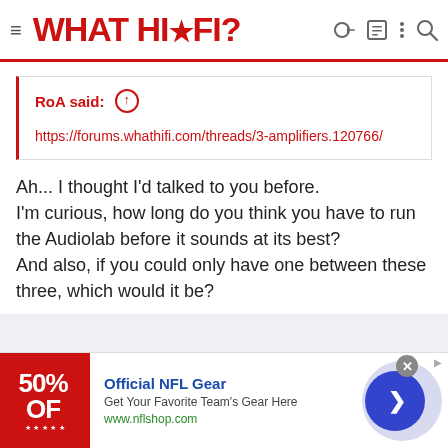WHAT HI·FI?
RoA said: ↑
https://forums.whathifi.com/threads/3-amplifiers.120766/
Ah... I thought I'd talked to you before.
I'm curious, how long do you think you have to run the Audiolab before it sounds at its best?
And also, if you could only have one between these three, which would it be?
[Figure (infographic): Advertisement banner for Official NFL Gear with red background showing '50% OFF', text 'Official NFL Gear', 'Get Your Favorite Team's Gear Here', 'www.nflshop.com', and a blue circular arrow button]